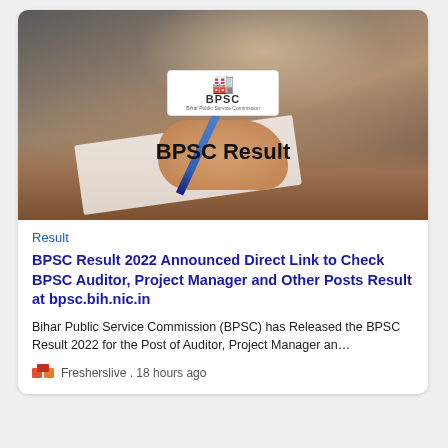[Figure (photo): A person writing with a blue pen on paper, with a BPSC logo overlay and 'BPSC Result' text on the image]
Result
BPSC Result 2022 Announced Direct Link to Check BPSC Auditor, Project Manager and Other Posts Result at bpsc.bih.nic.in
Bihar Public Service Commission (BPSC) has Released the BPSC Result 2022 for the Post of Auditor, Project Manager an…
Fresherslive . 18 hours ago